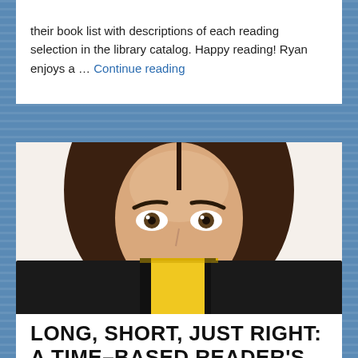their book list with descriptions of each reading selection in the library catalog. Happy reading! Ryan enjoys a … Continue reading
[Figure (photo): A woman with brown hair peering over an open book with a yellow and black cover, only her eyes and forehead visible above the book.]
LONG, SHORT, JUST RIGHT: A TIME-BASED READER'S ADVISORY